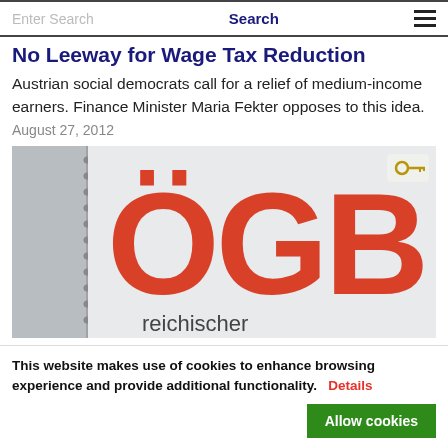Enter Search | Search
No Leeway for Wage Tax Reduction
Austrian social democrats call for a relief of medium-income earners. Finance Minister Maria Fekter opposes to this idea.
August 27, 2012
[Figure (photo): Photo of an ÖGB (Österreichischer Gewerkschaftsbund) sign with large red letters 'ÖGB' and below 'reichischer' visible, on a grey background.]
This website makes use of cookies to enhance browsing experience and provide additional functionality. Details Allow cookies